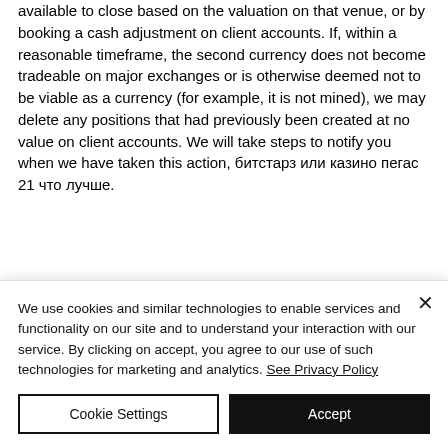available to close based on the valuation on that venue, or by booking a cash adjustment on client accounts. If, within a reasonable timeframe, the second currency does not become tradeable on major exchanges or is otherwise deemed not to be viable as a currency (for example, it is not mined), we may delete any positions that had previously been created at no value on client accounts. We will take steps to notify you when we have taken this action, битстарз или казино пегас 21 что лучше.
We use cookies and similar technologies to enable services and functionality on our site and to understand your interaction with our service. By clicking on accept, you agree to our use of such technologies for marketing and analytics. See Privacy Policy
Cookie Settings
Accept